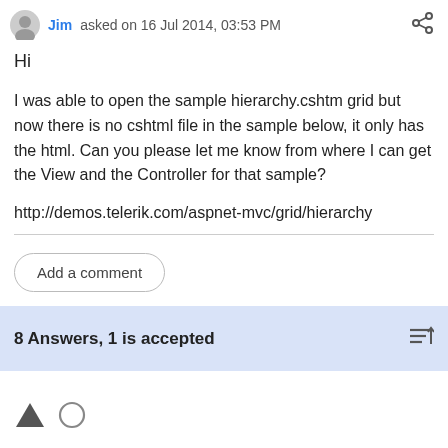Jim asked on 16 Jul 2014, 03:53 PM
Hi
I was able to open the sample hierarchy.cshtm grid but now there is no cshtml file in the sample below, it only has the html. Can you please let me know from where I can get the View and the Controller for that sample?
http://demos.telerik.com/aspnet-mvc/grid/hierarchy
Add a comment
8 Answers, 1 is accepted